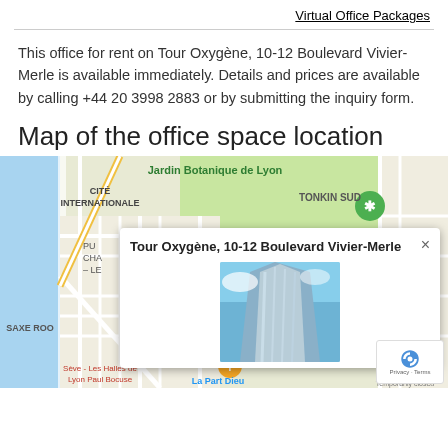Virtual Office Packages
This office for rent on Tour Oxygène, 10-12 Boulevard Vivier-Merle is available immediately. Details and prices are available by calling +44 20 3998 2883 or by submitting the inquiry form.
Map of the office space location
[Figure (map): Google Maps showing Tour Oxygène, 10-12 Boulevard Vivier-Merle in Lyon, France, with a popup info window displaying the location name and a photo of the building (a tall modern glass skyscraper). Visible map labels include Jardin Botanique de Lyon, Cité Internationale, Tonkin Sud, Saxe Roo[ne], Sève - Les Halles de Lyon Paul Bocuse, La Part Dieu, Institut d'art contemporai[n], Carrefou[r], Mairie de Gratte.]